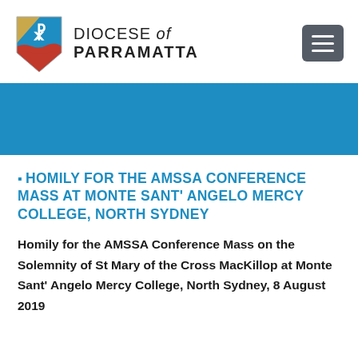[Figure (logo): Diocese of Parramatta shield logo with Chi Rho symbol and red wave, alongside text reading DIOCESE of PARRAMATTA]
HOMILY FOR THE AMSSA CONFERENCE MASS AT MONTE SANT' ANGELO MERCY COLLEGE, NORTH SYDNEY
Homily for the AMSSA Conference Mass on the Solemnity of St Mary of the Cross MacKillop at Monte Sant' Angelo Mercy College, North Sydney, 8 August 2019